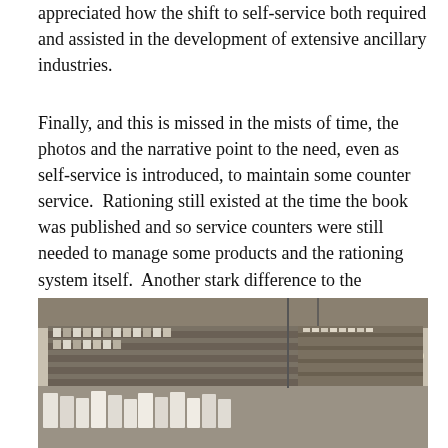appreciated how the shift to self-service both required and assisted in the development of extensive ancillary industries.
Finally, and this is missed in the mists of time, the photos and the narrative point to the need, even as self-service is introduced, to maintain some counter service. Rationing still existed at the time the book was published and so service counters were still needed to manage some products and the rationing system itself. Another stark difference to the American examples.
[Figure (photo): Black and white photograph of the interior of a self-service grocery store, showing shelves stocked with products and display counters.]